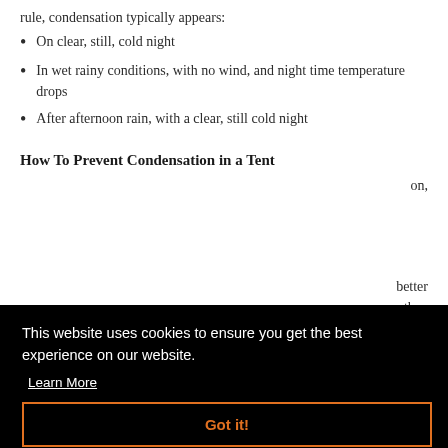rule, condensation typically appears:
On clear, still, cold night
In wet rainy conditions, with no wind, and night time temperature drops
After afternoon rain, with a clear, still cold night
How To Prevent Condensation in a Tent
on,
This website uses cookies to ensure you get the best experience on our website. Learn More Got it!
better
s they
allow condensation to pass through the mesh inner and